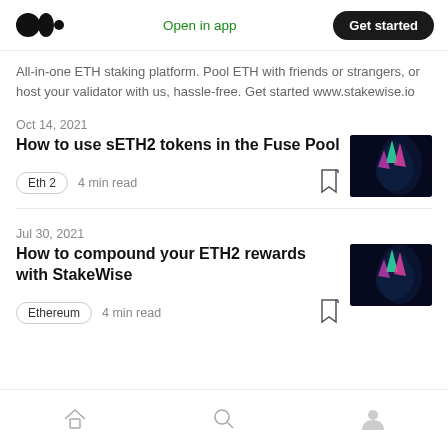Medium — Open in app | Get started
All-in-one ETH staking platform. Pool ETH with friends or strangers, or host your validator with us, hassle-free. Get started www.stakewise.io
Oct 14, 2021
How to use sETH2 tokens in the Fuse Pool
Eth 2  4 min read
Jul 30, 2021
How to compound your ETH2 rewards with StakeWise
Ethereum  4 min read
Home | Search | Profile